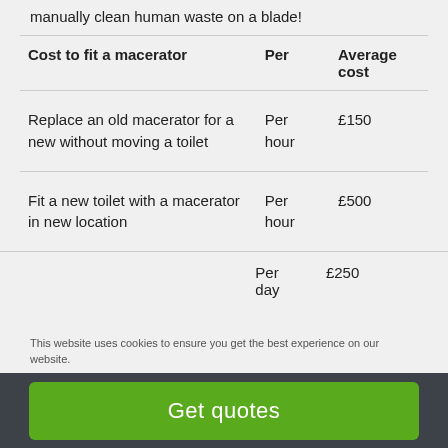manually clean human waste on a blade!
| Cost to fit a macerator | Per | Average cost |
| --- | --- | --- |
| Replace an old macerator for a new without moving a toilet | Per hour | £150 |
| Fit a new toilet with a macerator in new location | Per hour | £500 |
|  | Per day | £250 |
This website uses cookies to ensure you get the best experience on our website.
Get quotes